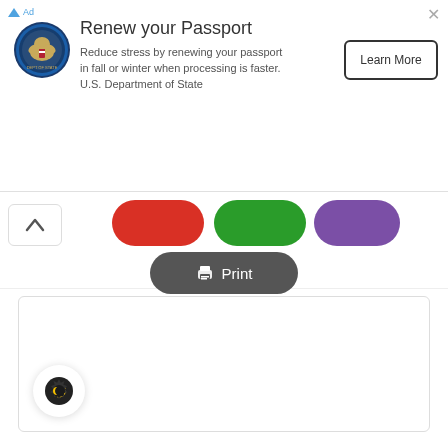[Figure (screenshot): Advertisement banner: U.S. Department of State seal icon on the left, heading 'Renew your Passport', body text 'Reduce stress by renewing your passport in fall or winter when processing is faster. U.S. Department of State', and a 'Learn More' button on the right. Small blue 'Ad' label and close X at top right.]
[Figure (screenshot): Toolbar row with a chevron-up button on the left, three colored circular share buttons (red, green, purple), and a dark gray 'Print' pill button with printer icon in the center.]
[Figure (screenshot): Large white content area with a rounded border, containing a cookie/settings icon in the bottom-left corner.]